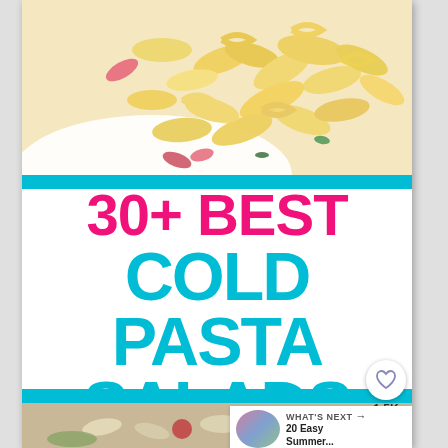[Figure (photo): Close-up photo of colorful rotini pasta salad in a white bowl, showing spiral pasta with vegetables]
30+ BEST COLD PASTA SALADS
[Figure (photo): Partially visible photo of another pasta salad (bowtie/farfalle) with vegetables at the bottom of the card]
WHAT'S NEXT → 20 Easy Summer...